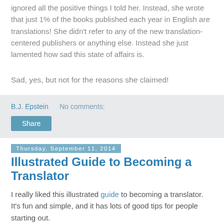was fine, but what was irritating and frustrating was that she ignored all the positive things I told her. Instead, she wrote that just 1% of the books published each year in English are translations! She didn't refer to any of the new translation-centered publishers or anything else. Instead she just lamented how sad this state of affairs is.
Sad, yes, but not for the reasons she claimed!
B.J. Epstein   No comments:
Share
Thursday, September 11, 2014
Illustrated Guide to Becoming a Translator
I really liked this illustrated guide to becoming a translator. It's fun and simple, and it has lots of good tips for people starting out.